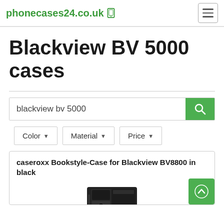phonecases24.co.uk
Blackview BV 5000 cases
blackview bv 5000
Color ▾   Material ▾   Price ▾
caseroxx Bookstyle-Case for Blackview BV8800 in black
[Figure (photo): Product photo of a black bookstyle case for Blackview BV8800]